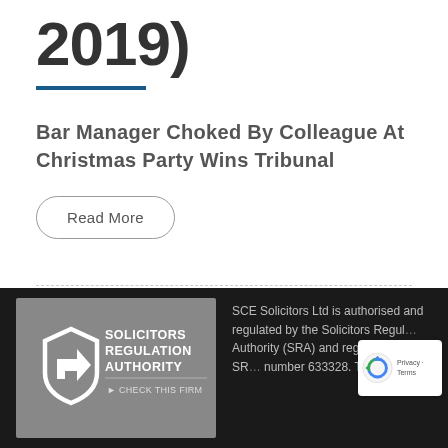2019)
Bar Manager Choked By Colleague At Christmas Party Wins Tribunal
Read More
[Figure (logo): Solicitors Regulation Authority – Check This Firm logo on grey background]
SCE Solicitors Ltd is authorised and regulated by the Solicitors Regulation Authority (SRA) and registered under SRA number 633328. The SRA